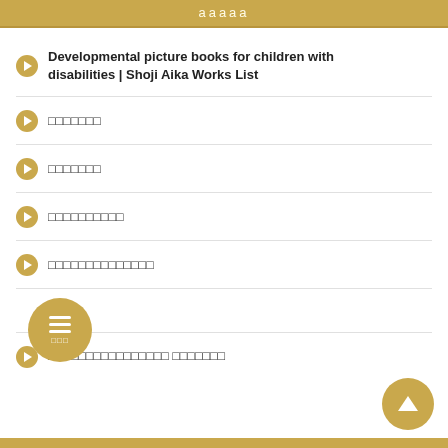ааааа
Developmental picture books for children with disabilities | Shoji Aika Works List
ааааааа
ааааааа
аааааааааа
аааааааааааааа
аааа
аааааааааааааааа ааааааа